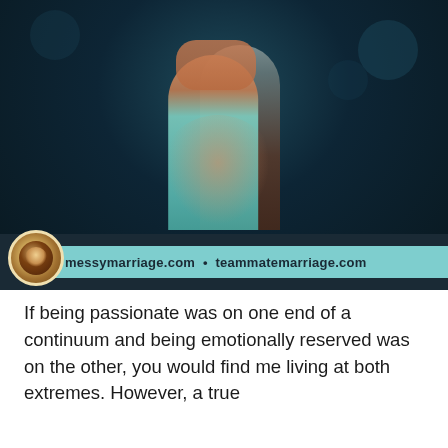[Figure (photo): A couple embracing in a dark, moody setting. The woman wears a teal/mint dress. Below the photo is a dark banner with a coffee cup logo on the left and a teal strip reading 'messymarriage.com • teammatemarriage.com'.]
If being passionate was on one end of a continuum and being emotionally reserved was on the other, you would find me living at both extremes. However, a true